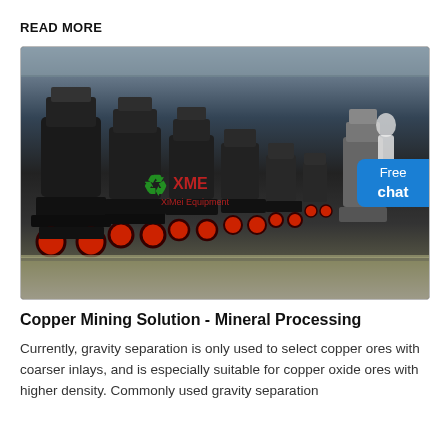READ MORE
[Figure (photo): Industrial warehouse interior showing a row of large black mining/mineral processing cone crushers with red flywheels, XME (XiMei Equipment) watermark and logo overlaid in green and red, with a 'Free chat' blue button overlay on the right side and a person visible in the background.]
Copper Mining Solution - Mineral Processing
Currently, gravity separation is only used to select copper ores with coarser inlays, and is especially suitable for copper oxide ores with higher density. Commonly used gravity separation